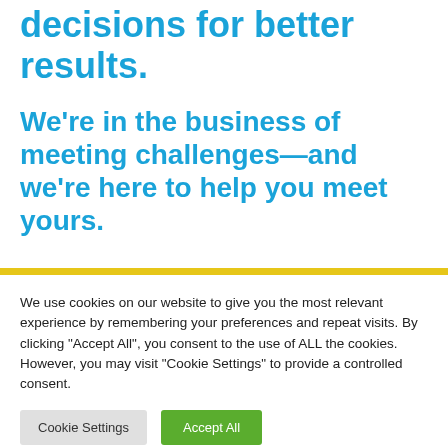decisions for better results.
We're in the business of meeting challenges—and we're here to help you meet yours.
We use cookies on our website to give you the most relevant experience by remembering your preferences and repeat visits. By clicking "Accept All", you consent to the use of ALL the cookies. However, you may visit "Cookie Settings" to provide a controlled consent.